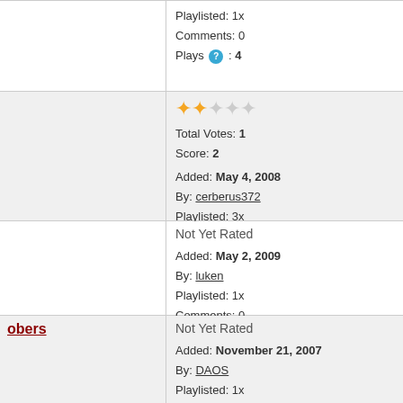Playlisted: 1x
Comments: 0
Plays : 4
Total Votes: 1
Score: 2
Added: May 4, 2008
By: cerberus372
Playlisted: 3x
Comments: 0
Plays : 7
Not Yet Rated
Added: May 2, 2009
By: luken
Playlisted: 1x
Comments: 0
Plays : 5
Not Yet Rated
Added: November 21, 2007
By: DAOS
Playlisted: 1x
Comments: 0
Plays : 22
Not Yet Rated
Added: January 1, 2013
By: Ro11075